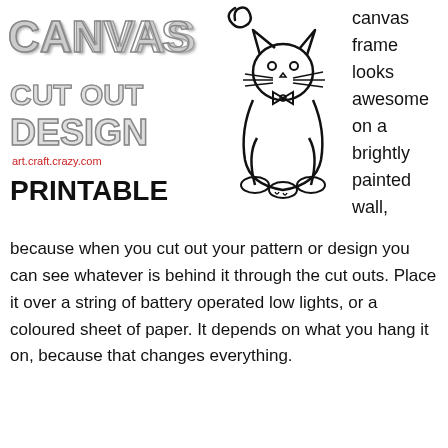[Figure (illustration): Canvas Cut Out Design logo with decorative block letters saying CANVAS CUT OUT DESIGN, website art.craft.crazy.com in red, PRINTABLE in bold black, and a cartoon cat outline on the right side]
canvas frame looks awesome on a brightly painted wall,
because when you cut out your pattern or design you can see whatever is behind it through the cut outs. Place it over a string of battery operated low lights, or a coloured sheet of paper. It depends on what you hang it on, because that changes everything.